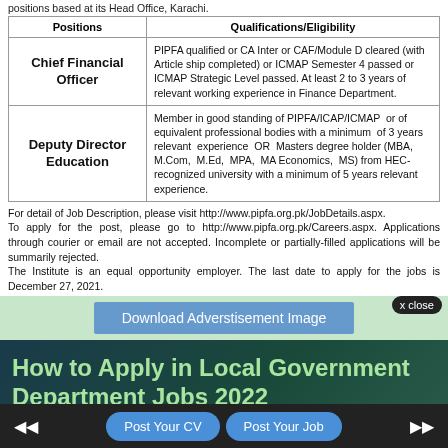positions based at its Head Office, Karachi.
| Positions | Qualifications/Eligibility |
| --- | --- |
| Chief Financial Officer | PIPFA qualified or CA Inter or CAF/Module D cleared (with Article ship completed) or ICMAP Semester 4 passed or ICMAP Strategic Level passed. At least 2 to 3 years of relevant working experience in Finance Department. |
| Deputy Director Education | Member in good standing of PIPFA/ICAP/ICMAP or of equivalent professional bodies with a minimum of 3 years relevant experience OR Masters degree holder (MBA, M.Com, M.Ed, MPA, MA Economics, MS) from HEC-recognized university with a minimum of 5 years relevant experience. |
For detail of Job Description, please visit http://www.pipfa.org.pk/JobDetails.aspx. To apply for the post, please go to http://www.pipfa.org.pk/Careers.aspx. Applications through courier or email are not accepted. Incomplete or partially-filled applications will be summarily rejected. The Institute is an equal opportunity employer. The last date to apply for the jobs is December 27, 2021.
[Figure (other): Download Advertisement Image button]
How to Apply in Local Government Department Jobs 2022
Interested candidates should submit application must along with required documents at the given address before the closing date
Post Your CV  Post Your Job